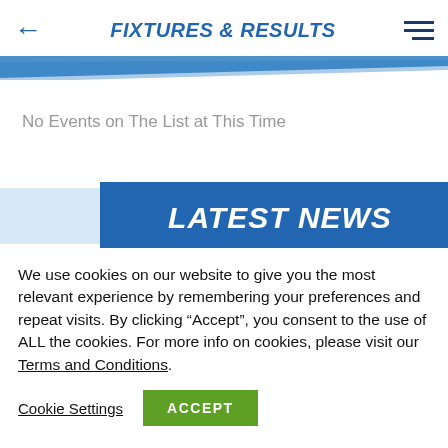FIXTURES & RESULTS
No Events on The List at This Time
[Figure (infographic): Blue banner with italic bold white text reading LATEST NEWS, with a diagonal stripe design]
We use cookies on our website to give you the most relevant experience by remembering your preferences and repeat visits. By clicking “Accept”, you consent to the use of ALL the cookies. For more info on cookies, please visit our Terms and Conditions.
Cookie Settings   ACCEPT